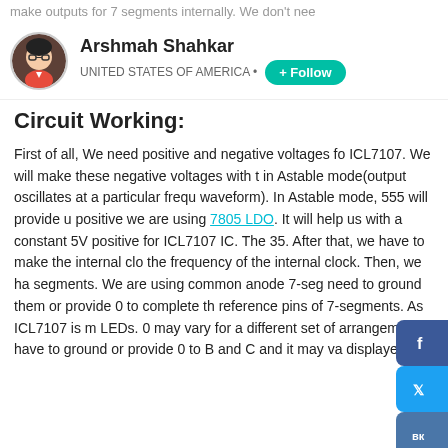make outputs for 7 segments internally. We don't nee
Arshmah Shahkar
UNITED STATES OF AMERICA • + Follow
Circuit Working:
First of all, We need positive and negative voltages for ICL7107. We will make these negative voltages with the in Astable mode(output oscillates at a particular frequ waveform). In Astable mode, 555 will provide u positive we are using 7805 LDO. It will help us with a constant 5V positive for ICL7107 IC. The 35. After that, we have to make the internal clo the frequency of the internal clock. Then, we ha segments. We are using common anode 7-seg need to ground them or provide 0 to complete th reference pins of 7-segments. As ICL7107 is m LEDs. 0 may vary for a different set of arrangements. have to ground or provide 0 to B and C and it may va displayed.